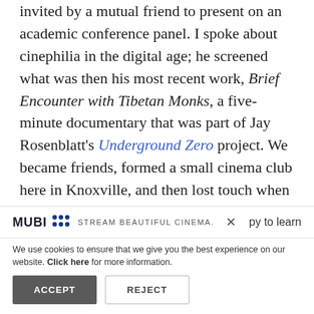invited by a mutual friend to present on an academic conference panel. I spoke about cinephilia in the digital age; he screened what was then his most recent work, Brief Encounter with Tibetan Monks, a five-minute documentary that was part of Jay Rosenblatt's Underground Zero project. We became friends, formed a small cinema club here in Knoxville, and then lost touch when he left to take faculty positions first at Temple University and then Virginia Tech. I ran into him again three years
[Figure (other): MUBI promotional banner with logo, tagline 'STREAM BEAUTIFUL CINEMA.', close button X, and partial text 'py to learn']
We use cookies to ensure that we give you the best experience on our website. Click here for more information.
ACCEPT   REJECT